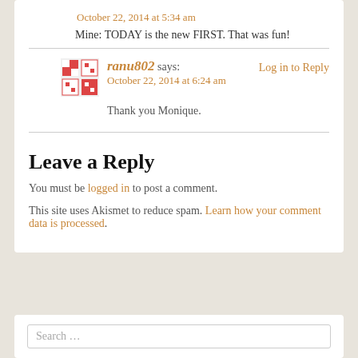October 22, 2014 at 5:34 am
Mine: TODAY is the new FIRST. That was fun!
ranu802 says: October 22, 2014 at 6:24 am
Log in to Reply
Thank you Monique.
Leave a Reply
You must be logged in to post a comment.
This site uses Akismet to reduce spam. Learn how your comment data is processed.